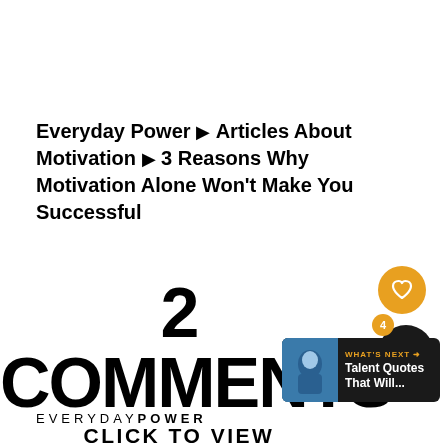Everyday Power ▸ Articles About Motivation ▸ 3 Reasons Why Motivation Alone Won't Make You Successful
2 COMMENTS
CLICK TO VIEW
[Figure (other): Heart icon button in orange circle]
[Figure (other): Share icon button in black circle with badge showing 4]
[Figure (other): What's Next panel with Talent Quotes That Will... text]
EVERYDAY POWER